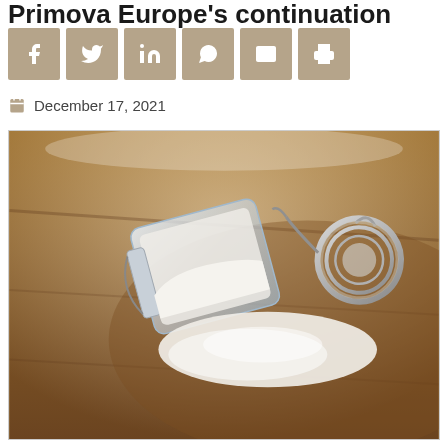Primova Europe's continuation
Social sharing buttons: Facebook, Twitter, LinkedIn, WhatsApp, Email, Print
December 17, 2021
[Figure (photo): A glass jar tipped on its side on a wooden surface, with white powder (flour) spilling out. The jar has a metal bail-top lid that is open.]